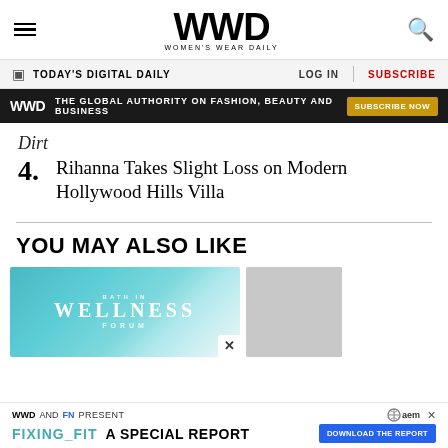WWD WOMEN'S WEAR DAILY
TODAY'S DIGITAL DAILY | LOG IN | SUBSCRIBE
WWD THE GLOBAL AUTHORITY ON FASHION, BEAUTY AND BUSINESS SUBSCRIBE NOW
Dirt
4. Rihanna Takes Slight Loss on Modern Hollywood Hills Villa
YOU MAY ALSO LIKE
[Figure (photo): Wellness Forum promotional image with teal/turquoise background]
[Figure (photo): Gray textured image, partially visible]
WWD AND FN PRESENT FIXING_FIT A SPECIAL REPORT DOWNLOAD THE REPORT